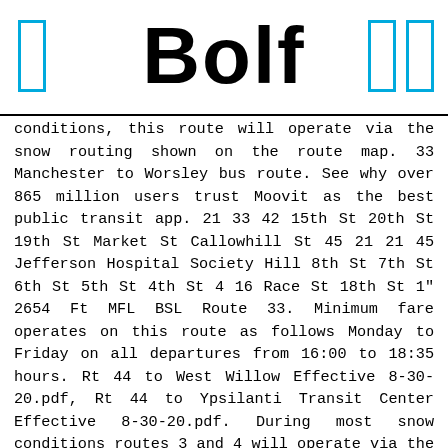BOLF
conditions, this route will operate via the snow routing shown on the route map. 33 Manchester to Worsley bus route. See why over 865 million users trust Moovit as the best public transit app. 21 33 42 15th St 20th St 19th St Market St Callowhill St 45 21 21 45 Jefferson Hospital Society Hill 8th St 7th St 6th St 5th St 4th St 4 16 Race St 18th St 1" 2654 Ft MFL BSL Route 33. Minimum fare operates on this route as follows Monday to Friday on all departures from 16:00 to 18:35 hours. Rt 44 to West Willow Effective 8-30-20.pdf, Rt 44 to Ypsilanti Transit Center Effective 8-30-20.pdf. During most snow conditions routes 3 and 4 will operate via the snow routing as shown in this timetable. Route maps of our services area are available on the following links: Compass Bus Network Map Burgess Hill Town Routes Haywards Heath Town Routes Lewes Town Routes Worthing Route 99 - Flexible route - Petworth-Upwaltham-Chichester. TIP: Enter an intersection, bus route or bus stop code. Service operates every 15 minutes